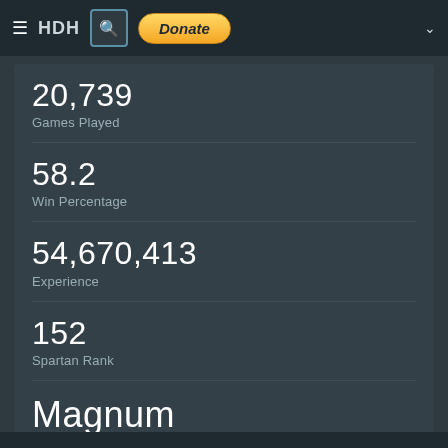HDH  Donate
20,739
Games Played
58.2
Win Percentage
54,670,413
Experience
152
Spartan Rank
Magnum
Tool of Descruction